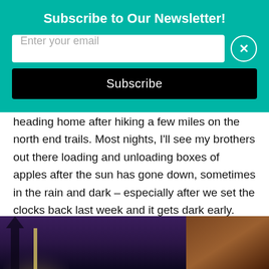Subscribe to Our Newsletter!
Enter your email
Subscribe
heading home after hiking a few miles on the north end trails. Most nights, I'll see my brothers out there loading and unloading boxes of apples after the sun has gone down, sometimes in the rain and dark – especially after we set the clocks back last week and it gets dark early.
Here's a photo I took of Ward unloading a truck last week. I'm standing next to their farm stand (which is now closed for the season).
[Figure (photo): Dark nighttime outdoor photo showing a farm stand scene with bright light on the left and wooden structure on the right, purple/dark sky background.]